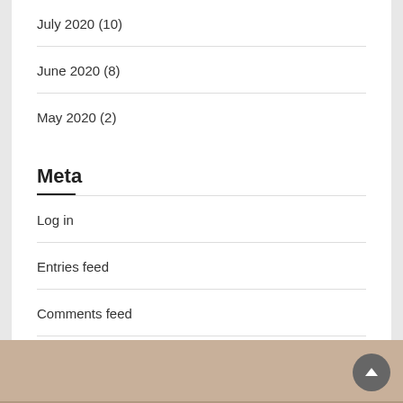July 2020 (10)
June 2020 (8)
May 2020 (2)
Meta
Log in
Entries feed
Comments feed
WordPress.org